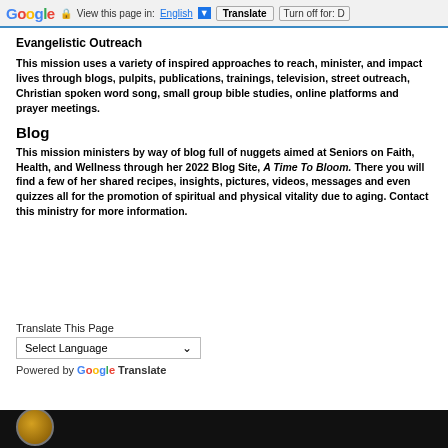Google | View this page in: English [▼] | Translate | Turn off for: D
Evangelistic Outreach
This mission uses a variety of inspired approaches to reach, minister, and impact lives through blogs, pulpits, publications, trainings, television, street outreach, Christian spoken word song, small group bible studies, online platforms and prayer meetings.
Blog
This mission ministers by way of blog full of nuggets aimed at Seniors on Faith, Health, and Wellness through her 2022 Blog Site, A Time To Bloom. There you will find a few of her shared recipes, insights, pictures, videos, messages and even quizzes all for the promotion of spiritual and physical vitality due to aging. Contact this ministry for more information.
Translate This Page
Select Language
Powered by Google Translate
[Figure (photo): Dark background strip with circular portrait photo at bottom of page]